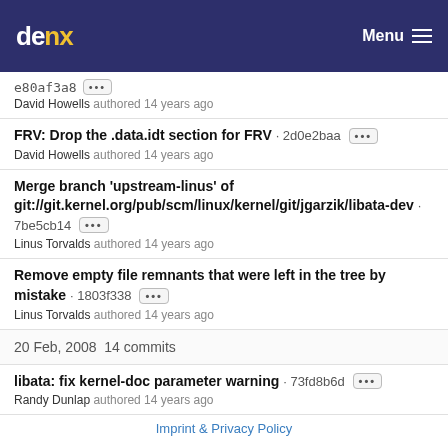denx  Menu
e80af3a8 ···  David Howells authored 14 years ago
FRV: Drop the .data.idt section for FRV · 2d0e2baa ···  David Howells authored 14 years ago
Merge branch 'upstream-linus' of git://git.kernel.org/pub/scm/linux/kernel/git/jgarzik/libata-dev · 7be5cb14 ···  Linus Torvalds authored 14 years ago
Remove empty file remnants that were left in the tree by mistake · 1803f338 ···  Linus Torvalds authored 14 years ago
20 Feb, 2008  14 commits
libata: fix kernel-doc parameter warning · 73fd8b6d ···  Randy Dunlap authored 14 years ago
Imprint & Privacy Policy